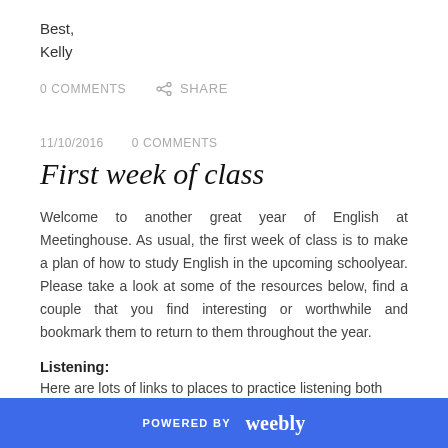Best,
Kelly
0 COMMENTS   SHARE
11/10/2016   0 COMMENTS
First week of class
Welcome to another great year of English at Meetinghouse. As usual, the first week of class is to make a plan of how to study English in the upcoming schoolyear. Please take a look at some of the resources below, find a couple that you find interesting or worthwhile and bookmark them to return to them throughout the year.
Listening:
Here are lots of links to places to practice listening both adapted
POWERED BY weebly